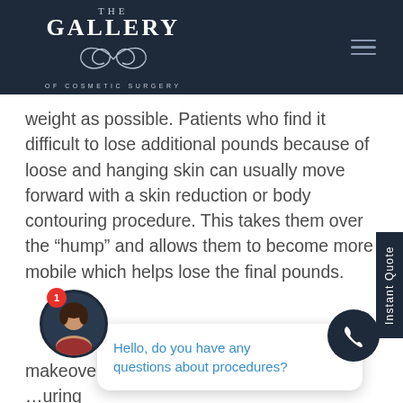THE GALLERY OF COSMETIC SURGERY
weight as possible. Patients who find it difficult to lose additional pounds because of loose and hanging skin can usually move forward with a skin reduction or body contouring procedure. This takes them over the “hump” and allows them to become more mobile which helps lose the final pounds.
[Figure (screenshot): Chat bubble popup asking 'Hello, do you have any questions about procedures?' with a close button, overlaid on page content about makeover procedures to address the body parts pregnancy commonly affects. This usually entails the breast, abdomen, hips and glutes.]
makeover …uring …cedures to address the body parts …egnancy commonly affects. This usually entails the breast, abdomen, hips and glutes.